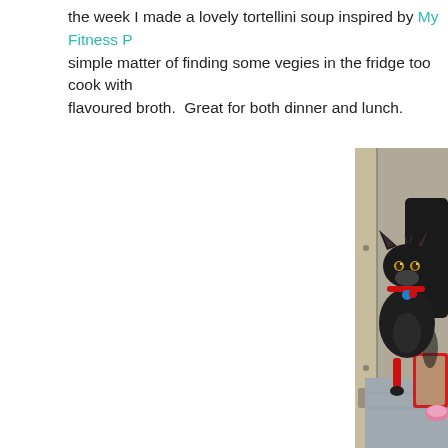the week I made a lovely tortellini soup inspired by My Fitness P[al] simple matter of finding some vegies in the fridge too cook with flavoured broth.  Great for both dinner and lunch.
[Figure (photo): A black cat with a red collar and blue tag sitting inside a metal cage/kennel on a grey blanket, with a red litter tray and pink bowl visible to the right.]